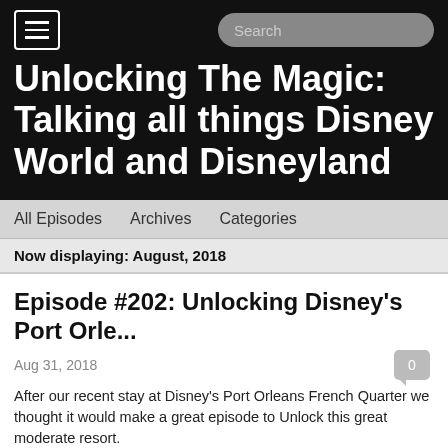Unlocking The Magic: Talking all things Disney World and Disneyland
All Episodes   Archives   Categories
Now displaying: August, 2018
Episode #202: Unlocking Disney's Port Orle...
Aug 31, 2018
After our recent stay at Disney's Port Orleans French Quarter we thought it would make a great episode to Unlock this great moderate resort.
Mentioned In This Episode:
Our live show on Monday nights
Support the show on Patreon
Upcoming Disney Cruise
Our new YouTube Channel Subscribe